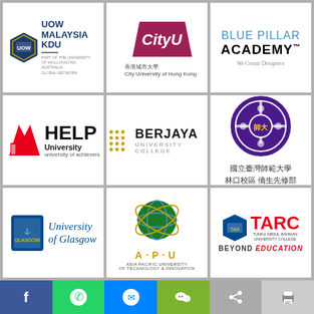[Figure (logo): UOW Malaysia KDU logo with shield emblem and text 'Part of the University of Wollongong Australia Global Network']
[Figure (logo): CityU - City University of Hong Kong logo with pink/maroon geometric shape and Chinese characters 香港城市大學]
[Figure (logo): Blue Pillar Academy logo with tagline 'We Create Designers']
[Figure (logo): HELP University - university of achievers logo with red chevron graphic]
[Figure (logo): Berjaya University College logo with gold dot grid]
[Figure (logo): National Taiwan Normal University logo (國立臺灣師範大學 林口校區 僑生先修部) with purple circular emblem]
[Figure (logo): University of Glasgow logo with shield emblem]
[Figure (logo): APU - Asia Pacific University of Technology & Innovation logo with globe graphic]
[Figure (logo): TARC - Tunku Abdul Rahman University College logo with shield and 'Beyond Education' tagline]
[Figure (infographic): Social media footer bar with icons: Facebook, WhatsApp, Messenger, WeChat, share, print]